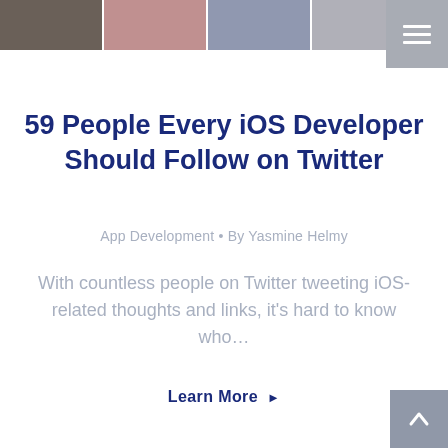[Figure (photo): Header strip of four profile photos of people, partially cropped at top]
59 People Every iOS Developer Should Follow on Twitter
App Development • By Yasmine Helmy
With countless people on Twitter tweeting iOS-related thoughts and links, it's hard to know who…
Learn More ▶